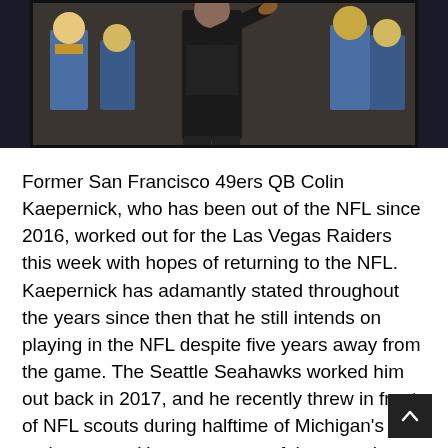[Figure (photo): Photo of Colin Kaepernick throwing a football, wearing dark clothing, with players in blue and yellow uniforms visible in the background]
Former San Francisco 49ers QB Colin Kaepernick, who has been out of the NFL since 2016, worked out for the Las Vegas Raiders this week with hopes of returning to the NFL. Kaepernick has adamantly stated throughout the years since then that he still intends on playing in the NFL despite five years away from the game. The Seattle Seahawks worked him out back in 2017, and he recently threw in front of NFL scouts during halftime of Michigan's spring game. However, none of these workouts have led to a team bringing him in.
Reports coming out of Las Vegas are that the Raiders considered Kaepernick's workout to be